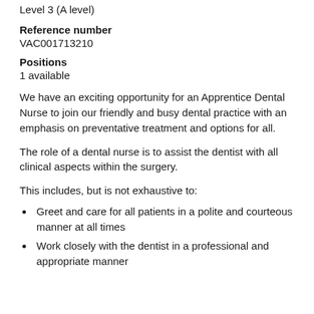Advanced
Level 3 (A level)
Reference number
VAC001713210
Positions
1 available
We have an exciting opportunity for an Apprentice Dental Nurse to join our friendly and busy dental practice with an emphasis on preventative treatment and options for all.
The role of a dental nurse is to assist the dentist with all clinical aspects within the surgery.
This includes, but is not exhaustive to:
Greet and care for all patients in a polite and courteous manner at all times
Work closely with the dentist in a professional and appropriate manner